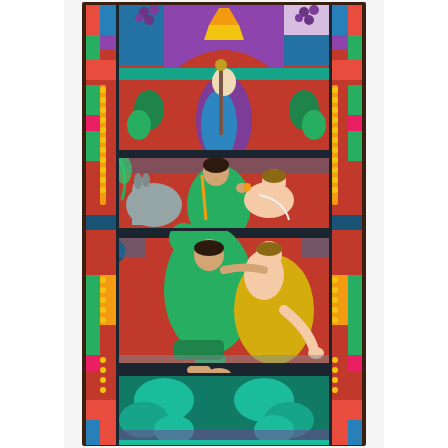[Figure (illustration): A tall stained glass church window depicting the Parable of the Good Samaritan. The window is divided into multiple registers. The top register shows a robed figure with a staff under an arch with grapevine motifs and colorful geometric glass in blues, reds, purples, and yellows. The middle register shows the Good Samaritan in a green robe tending to the wounded man, with a donkey visible to the left, against a red background with decorative side borders featuring yellow dotted patterns and blue ornamental elements. The lower register continues the scene with the Samaritan kneeling beside the injured man dressed in yellow/gold garments, helping him. The bottom portion features teal/turquoise decorative foliage patterns. The entire window has ornate border elements with repeating patterns in green, blue, pink and yellow on both sides.]